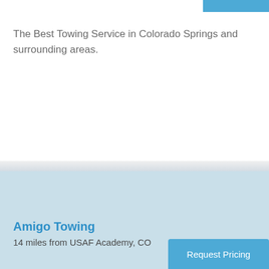[Figure (other): Blue button/bar at top right corner of the page]
The Best Towing Service in Colorado Springs and surrounding areas.
[Figure (map): Light blue map area showing a geographic region near USAF Academy, CO]
Amigo Towing
14 miles from USAF Academy, CO
[Figure (other): Blue 'Request Pricing' button at bottom right]